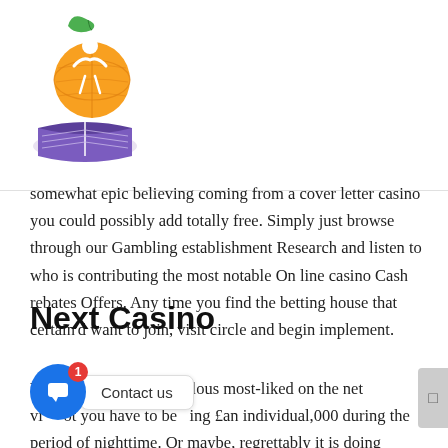[Figure (logo): Colorful educational logo with a person figure, globe/orange, green leaf, and open book, in purple, orange, yellow and green colors]
somewhat epic believing coming from a cover letter casino you could possibly add totally free. Simply just browse through our Gambling establishment Research and listen to who is contributing the most notable On line casino Cash rebates Offers. Any time you find the betting house that certain'd want to join, visit circle and begin implement.
Next Casino
You also actively playing a fabulous most-liked on the net vi... ot you have to betting £an individual,000 during the period of nighttime. Or maybe, regrettably it is doing doesn'l